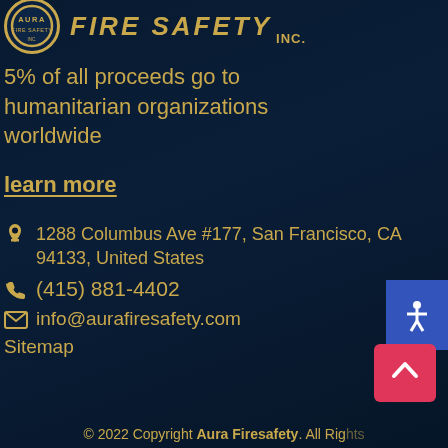[Figure (logo): Aura Fire Safety Inc. logo with circular emblem and bold italic text]
5% of all proceeds go to humanitarian organizations worldwide
learn more
🏠 1288 Columbus Ave #177, San Francisco, CA 94133, United States
📞 (415) 881-4402
✉ info@aurafiresafety.com
Sitemap
© 2022 Copyright Aura Firesafety. All Rights